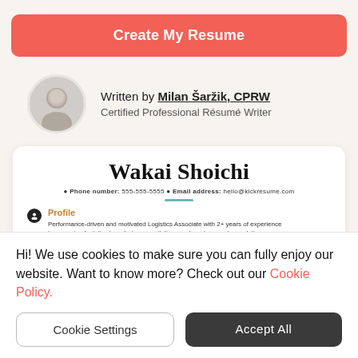Create My Resume
Written by Milan Šaržik, CPRW
Certified Professional Résumé Writer
[Figure (other): Resume preview card showing 'Wakai Shoichi' name, phone number and email contact details, and a Profile section with text about Logistics Associate experience.]
Hi! We use cookies to make sure you can fully enjoy our website. Want to know more? Check out our Cookie Policy.
Cookie Settings
Accept All